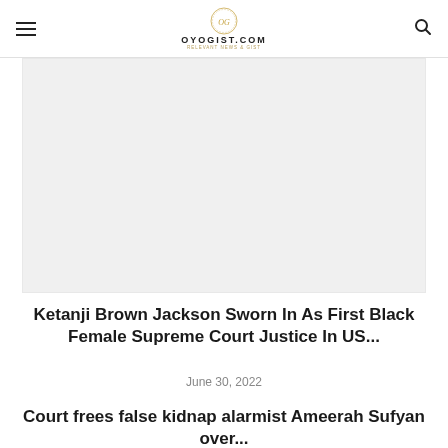OYOGIST.COM
[Figure (photo): Large rectangular image placeholder area (light gray background) showing an article image for the Ketanji Brown Jackson story]
Ketanji Brown Jackson Sworn In As First Black Female Supreme Court Justice In US...
June 30, 2022
Court frees false kidnap alarmist Ameerah Sufyan over...